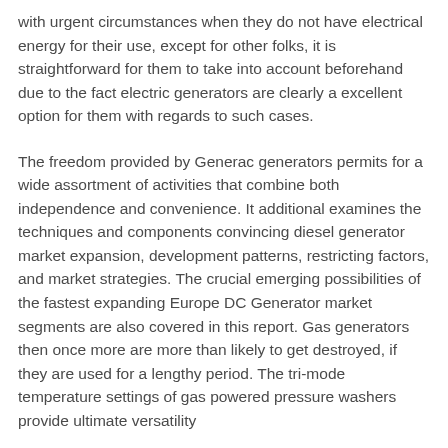with urgent circumstances when they do not have electrical energy for their use, except for other folks, it is straightforward for them to take into account beforehand due to the fact electric generators are clearly a excellent option for them with regards to such cases.
The freedom provided by Generac generators permits for a wide assortment of activities that combine both independence and convenience. It additional examines the techniques and components convincing diesel generator market expansion, development patterns, restricting factors, and market strategies. The crucial emerging possibilities of the fastest expanding Europe DC Generator market segments are also covered in this report. Gas generators then once more are more than likely to get destroyed, if they are used for a lengthy period. The tri-mode temperature settings of gas powered pressure washers provide ultimate versatility